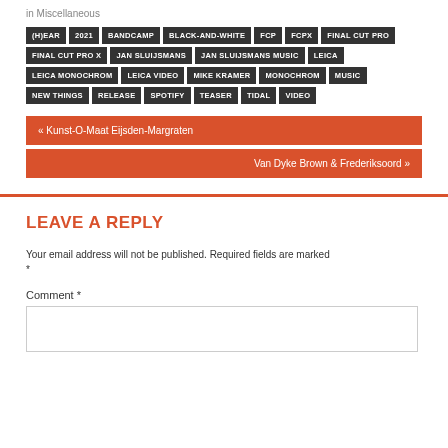in  Miscellaneous
(H)EAR
2021
BANDCAMP
BLACK-AND-WHITE
FCP
FCPX
FINAL CUT PRO
FINAL CUT PRO X
JAN SLUIJSMANS
JAN SLUIJSMANS MUSIC
LEICA
LEICA MONOCHROM
LEICA VIDEO
MIKE KRAMER
MONOCHROM
MUSIC
NEW THINGS
RELEASE
SPOTIFY
TEASER
TIDAL
VIDEO
« Kunst-O-Maat Eijsden-Margraten
Van Dyke Brown & Frederiksoord »
LEAVE A REPLY
Your email address will not be published. Required fields are marked *
Comment *